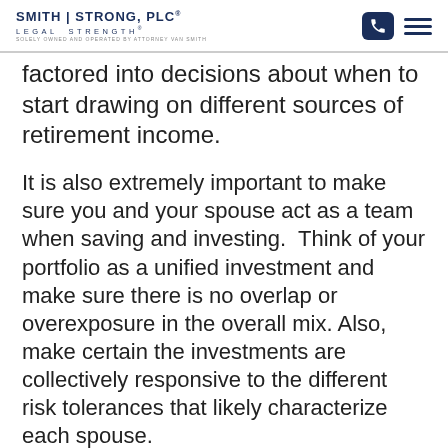SMITH | STRONG, PLC® LEGAL STRENGTH® SOLELY OWNED AND OPERATED BY ATTORNEY VAN SMITH
factored into decisions about when to start drawing on different sources of retirement income.
It is also extremely important to make sure you and your spouse act as a team when saving and investing.  Think of your portfolio as a unified investment and make sure there is no overlap or overexposure in the overall mix. Also, make certain the investments are collectively responsive to the different risk tolerances that likely characterize each spouse.